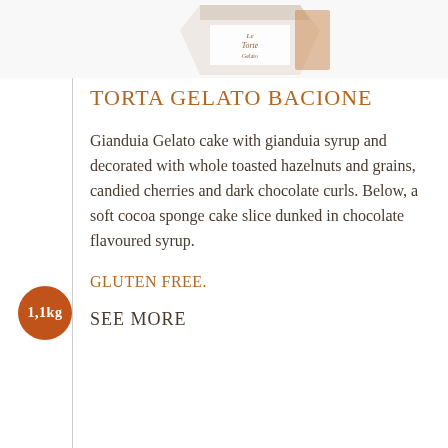[Figure (photo): Partial view of a gelato cake box at the top of the page, white box with brown branding reading 'Le Torte Gelato']
TORTA GELATO BACIONE
Gianduia Gelato cake with gianduia syrup and decorated with whole toasted hazelnuts and grains, candied cherries and dark chocolate curls. Below, a soft cocoa sponge cake slice dunked in chocolate flavoured syrup.
GLUTEN FREE.
SEE MORE
1,1kg